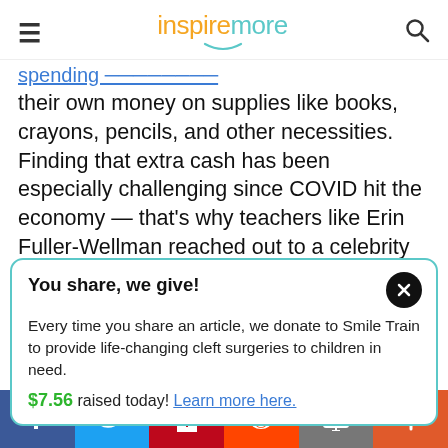inspiremore
their own money on supplies like books, crayons, pencils, and other necessities. Finding that extra cash has been especially challenging since COVID hit the economy — that's why teachers like Erin Fuller-Wellman reached out to a celebrity on Instagram for
You share, we give!
Every time you share an article, we donate to Smile Train to provide life-changing cleft surgeries to children in need.
$7.56 raised today! Learn more here.
Facebook | Twitter | Pinterest | Reddit | Email | More